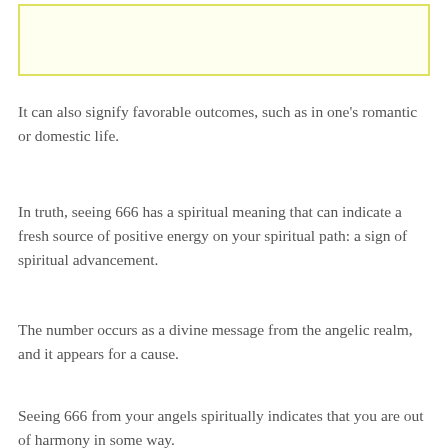[Figure (other): Light yellow rectangular box with yellow border at top of page]
It can also signify favorable outcomes, such as in one's romantic or domestic life.
In truth, seeing 666 has a spiritual meaning that can indicate a fresh source of positive energy on your spiritual path: a sign of spiritual advancement.
The number occurs as a divine message from the angelic realm, and it appears for a cause.
Seeing 666 from your angels spiritually indicates that you are out of harmony in some way.